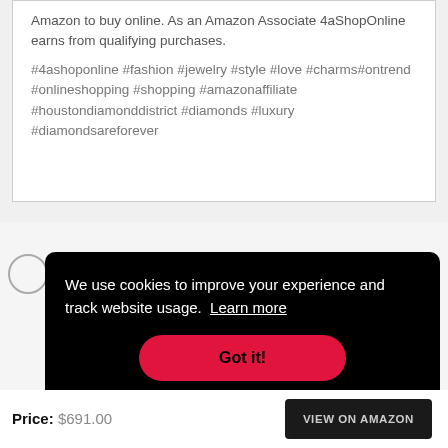Amazon to buy online. As an Amazon Associate 4aShopOnline earns from qualifying purchases.
#4ashoponline #fashion #jewelry #style #love #charms#ontrend #onlineshopping #shopping #amazonaffiliate #houstondiamonddistrict #diamonds #luxury #diamondsareforever
We use cookies to improve your experience and track website usage. Learn more
Got it!
Price: $691.00
VIEW ON AMAZON